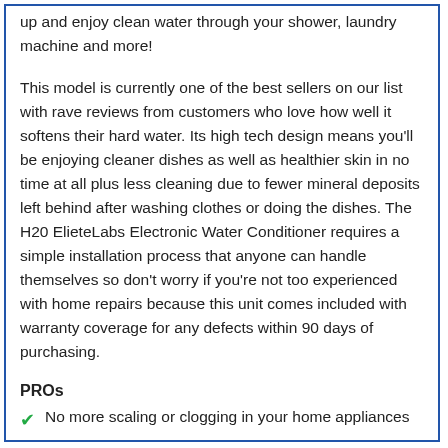up and enjoy clean water through your shower, laundry machine and more!
This model is currently one of the best sellers on our list with rave reviews from customers who love how well it softens their hard water. Its high tech design means you'll be enjoying cleaner dishes as well as healthier skin in no time at all plus less cleaning due to fewer mineral deposits left behind after washing clothes or doing the dishes. The H20 ElieteLabs Electronic Water Conditioner requires a simple installation process that anyone can handle themselves so don't worry if you're not too experienced with home repairs because this unit comes included with warranty coverage for any defects within 90 days of purchasing.
PROs
No more scaling or clogging in your home appliances
Enjoy healthier skin and hair after just one shower